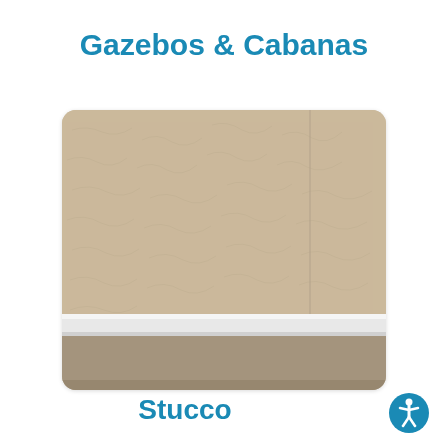Gazebos & Cabanas
[Figure (photo): Close-up photograph of a stucco wall surface showing beige/tan textured stucco above a white molding/trim piece, with a darker lower wall section below the trim.]
Stucco